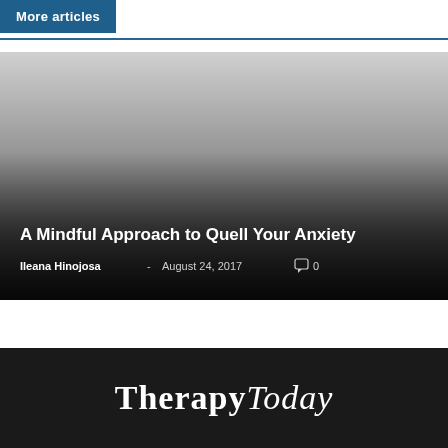More articles
[Figure (photo): Article card with gradient overlay showing a grayscale image. Title 'A Mindful Approach to Quell Your Anxiety' by Ileana Hinojosa, August 24, 2017, 0 comments.]
A Mindful Approach to Quell Your Anxiety
Ileana Hinojosa - August 24, 2017  0
TherapyToday